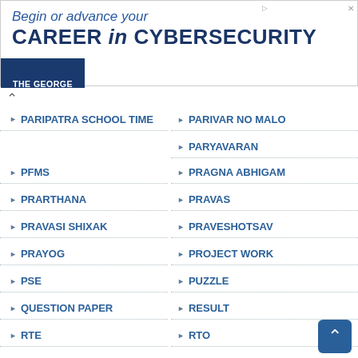[Figure (other): Advertisement banner for The George Washington University Cybersecurity program]
PARIPATRA SCHOOL TIME
PARIVAR NO MALO
PARYAVARAN
PFMS
PRAGNA ABHIGAM
PRARTHANA
PRAVAS
PRAVASI SHIXAK
PRAVESHOTSAV
PRAYOG
PROJECT WORK
PSE
PUZZLE
QUESTION PAPER
RESULT
RTE
RTO
SAMAIK
SANSKRIT
SAS ONLINE WORK
SCHOOL
SCHOOL TIME 2020
SCIENCE CORNER
SCIENCE FAIR
SDP